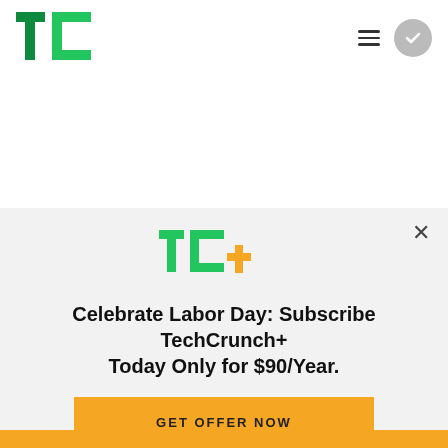TechCrunch logo, hamburger menu, user circle
Sign up for Newsletters
[Figure (screenshot): TechCrunch+ subscription modal overlay with TC+ logo, promotional text 'Celebrate Labor Day: Subscribe TechCrunch+ Today Only for $90/Year.' and a 'GET OFFER NOW' button]